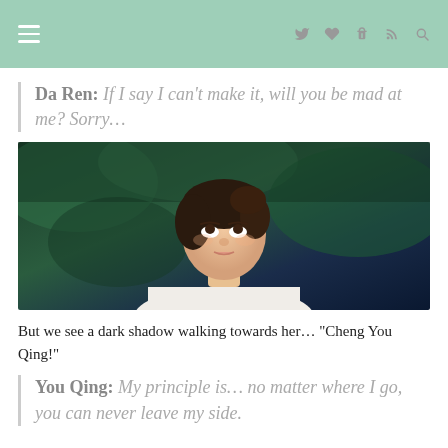Navigation bar with hamburger menu and social icons (Twitter, heart, Tumblr, RSS, search)
Da Ren: If I say I can't make it, will you be mad at me? Sorry…
[Figure (photo): A young Asian woman looking upward with an emotional expression, against a dark blurred background of green foliage.]
But we see a dark shadow walking towards her… “Cheng You Qing!”
You Qing: My principle is… no matter where I go, you can never leave my side.